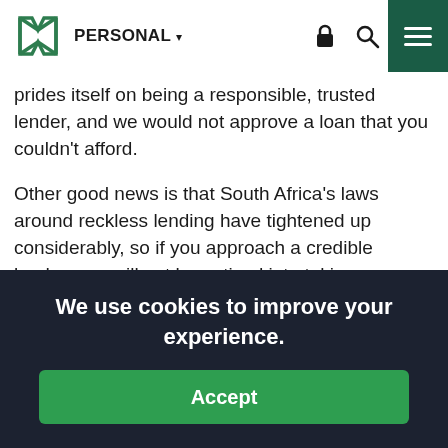PERSONAL
prides itself on being a responsible, trusted lender, and we would not approve a loan that you couldn't afford.
Other good news is that South Africa's laws around reckless lending have tightened up considerably, so if you approach a credible lender, you will not be enticed into taking on more debt than is reasonable.
We use cookies to improve your experience.
Accept